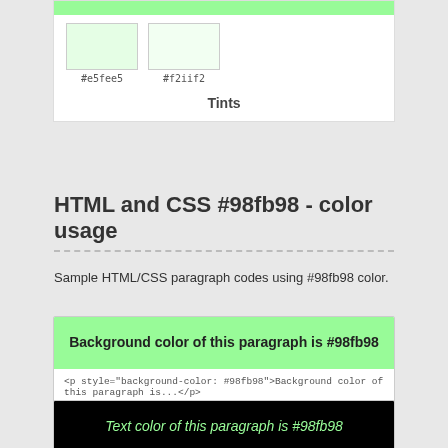[Figure (illustration): Color tints card showing #e5fee5 and #f2iif2 swatches with a green top bar and 'Tints' label]
HTML and CSS #98fb98 - color usage
Sample HTML/CSS paragraph codes using #98fb98 color.
[Figure (screenshot): Example box showing green background paragraph with code: <p style="background-color: #98fb98">Background color of this paragraph is...</p>]
[Figure (screenshot): Example box showing black background with green text paragraph and code: <p style="color: #98fb98">Text color of this paragraph is...</p>]